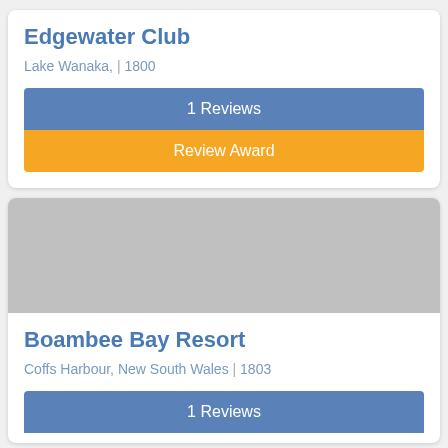Edgewater Club
Lake Wanaka, | 1800
1 Reviews
Review Award
[Figure (photo): Gray placeholder image for Boambee Bay Resort]
Boambee Bay Resort
Coffs Harbour, New South Wales | 1803